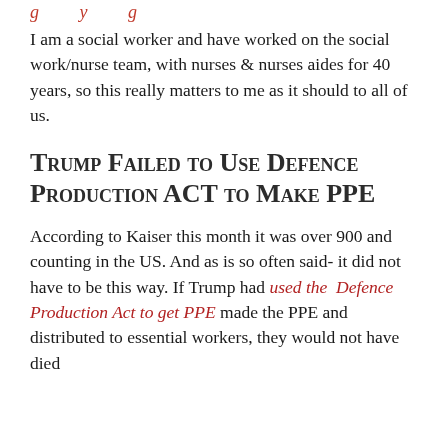...g...y...g...
I am a social worker and have worked on the social work/nurse team, with nurses & nurses aides for 40 years, so this really matters to me as it should to all of us.
Trump Failed to Use Defence Production ACT to Make PPE
According to Kaiser this month it was over 900 and counting in the US. And as is so often said- it did not have to be this way. If Trump had used the Defence Production Act to get PPE made the PPE and distributed to essential workers, they would not have died